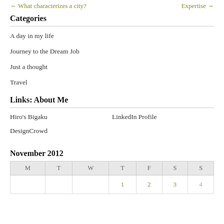← What characterizes a city?    Expertise →
Categories
A day in my life
Journey to the Dream Job
Just a thought
Travel
Links: About Me
Hiro's Bigaku
LinkedIn Profile
DesignCrowd
| M | T | W | T | F | S | S |
| --- | --- | --- | --- | --- | --- | --- |
|  |  |  | 1 | 2 | 3 | 4 |